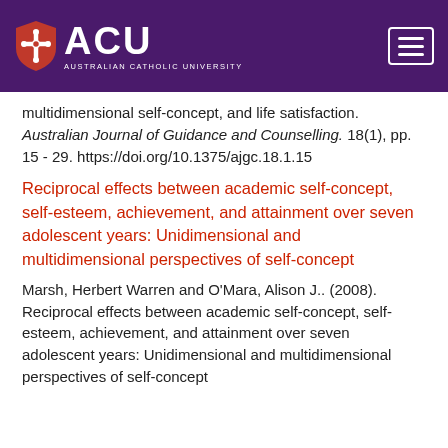[Figure (logo): Australian Catholic University (ACU) logo with shield emblem and ACU text on purple header bar with hamburger menu icon]
multidimensional self-concept, and life satisfaction. Australian Journal of Guidance and Counselling. 18(1), pp. 15 - 29. https://doi.org/10.1375/ajgc.18.1.15
Reciprocal effects between academic self-concept, self-esteem, achievement, and attainment over seven adolescent years: Unidimensional and multidimensional perspectives of self-concept
Marsh, Herbert Warren and O'Mara, Alison J.. (2008). Reciprocal effects between academic self-concept, self-esteem, achievement, and attainment over seven adolescent years: Unidimensional and multidimensional perspectives of self-concept